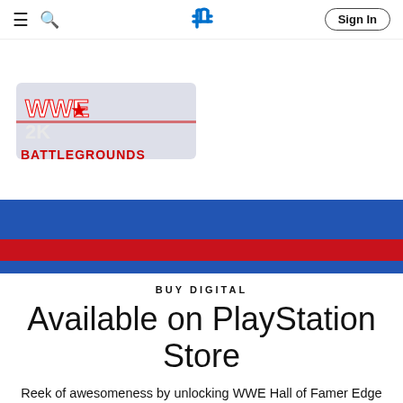WWE 2K Battlegrounds — PlayStation Store navigation bar with hamburger menu, search icon, PlayStation logo, and Sign In button
[Figure (logo): WWE 2K Battlegrounds game logo with red and white text on a stylized background]
[Figure (illustration): Blue banner with a red strip across the bottom, serving as a decorative section divider]
BUY DIGITAL
Available on PlayStation Store
Reek of awesomeness by unlocking WWE Hall of Famer Edge when you pre-order the WWE 2K Battlegrounds Standard Edition or purchase the